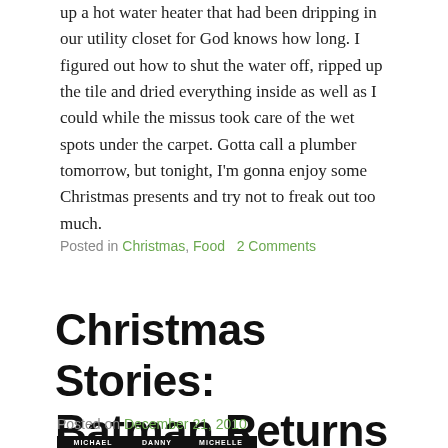up a hot water heater that had been dripping in our utility closet for God knows how long. I figured out how to shut the water off, ripped up the tile and dried everything inside as well as I could while the missus took care of the wet spots under the carpet. Gotta call a plumber tomorrow, but tonight, I'm gonna enjoy some Christmas presents and try not to freak out too much.
Posted in Christmas, Food   2 Comments
Christmas Stories: Batman Returns (1992)
Posted on December 21, 2010
[Figure (photo): Bottom of a movie poster showing names MICHAEL, DANNY, MICHELLE in white text on black background]